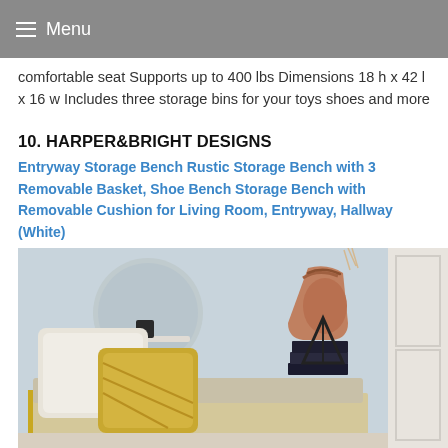Menu
comfortable seat Supports up to 400 lbs Dimensions 18 h x 42 l x 16 w Includes three storage bins for your toys shoes and more
10. HARPER&BRIGHT DESIGNS
Entryway Storage Bench Rustic Storage Bench with 3 Removable Basket, Shoe Bench Storage Bench with Removable Cushion for Living Room, Entryway, Hallway (White)
[Figure (photo): Photo of a styled entryway/living room scene with a storage bench, decorative pillows, a round wall shelf with a small plant and mug, and a brown leather handbag hanging on the wall]